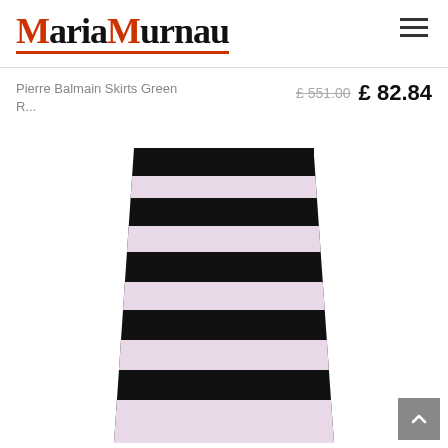MariaMurnau
Pierre Balmain Skirts Green R...
£ 551.00 £ 82.84
[Figure (photo): Black and white/light pink horizontally striped mini skirt (Pierre Balmain) on white background. The skirt has alternating thick black and pale pink stripes with a black waistband at top.]